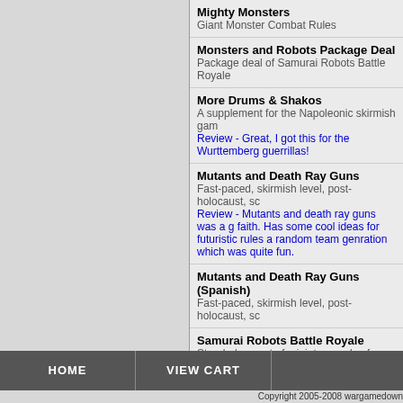Mighty Monsters
Giant Monster Combat Rules
Monsters and Robots Package Deal
Package deal of Samurai Robots Battle Royale
More Drums & Shakos
A supplement for the Napoleonic skirmish game
Review - Great, I got this for the Wurttemberg guerrillas!
Mutants and Death Ray Guns
Fast-paced, skirmish level, post-holocaust, sc
Review - Mutants and death ray guns was a g faith. Has some cool ideas for futuristic rules a random team genration which was quite fun.
Mutants and Death Ray Guns (Spanish)
Fast-paced, skirmish level, post-holocaust, sc
Samurai Robots Battle Royale
Stand-alone set of miniatures rules for mecha
Song of Arthur and Merlin
Bring the world's most famous legendary king
Song of Blades and Heroes (French)
Fast-play, skirmish-level fantasy miniatures sy
HOME   VIEW CART
Copyright 2005-2008 wargamedown